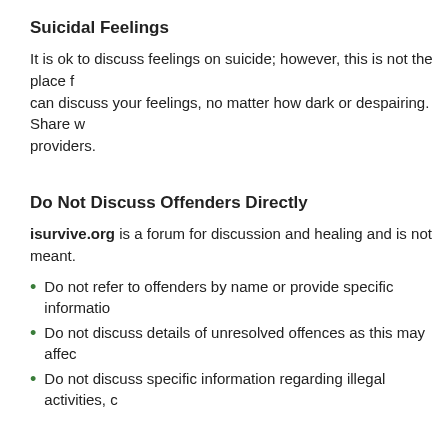Suicidal Feelings
It is ok to discuss feelings on suicide; however, this is not the place f... can discuss your feelings, no matter how dark or despairing. Share w... providers.
Do Not Discuss Offenders Directly
isurvive.org is a forum for discussion and healing and is not meant...
Do not refer to offenders by name or provide specific informatio...
Do not discuss details of unresolved offences as this may affec...
Do not discuss specific information regarding illegal activities, c...
Avoiding Disrespectful Content
If your words are causing a member harm and you are asked to refr...
Find another way to express yourself
Change the topic